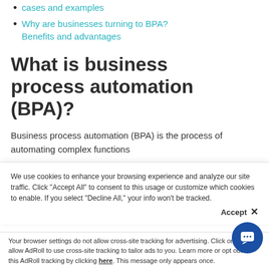cases and examples
Why are businesses turning to BPA? Benefits and advantages
What is business process automation (BPA)?
Business process automation (BPA) is the process of automating complex functions…
We use cookies to enhance your browsing experience and analyze our site traffic. Click "Accept All" to consent to this usage or customize which cookies to enable. If you select "Decline All," your info won't be tracked.
Your browser settings do not allow cross-site tracking for advertising. Click on this to allow AdRoll to use cross-site tracking to tailor ads to you. Learn more or opt out of this AdRoll tracking by clicking here. This message only appears once.